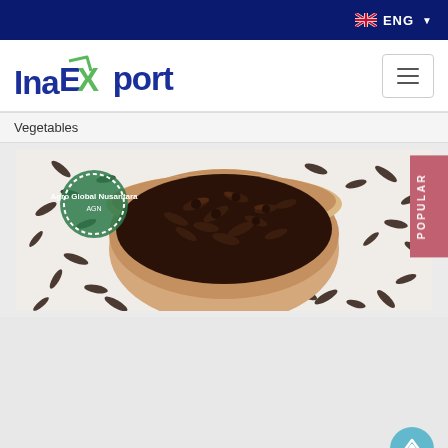ENG
[Figure (logo): InaExport logo with green stylized X and arrow, dark blue text]
Vegetables
[Figure (photo): A bowl of dried cloves spice overflowing onto a white surface, with Agro Global Nusantara watermark in the top-left corner]
POPULAR